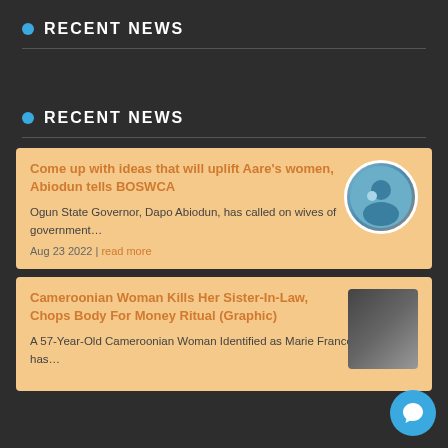RECENT NEWS
RECENT NEWS
Come up with ideas that will uplift Aare's women, Abiodun tells BOSWCA
Ogun State Governor, Dapo Abiodun, has called on wives of government…
Aug 23 2022 | read more
Cameroonian Woman Kills Her Sister-In-Law, Chops Body For Money Ritual (Graphic)
A 57-Year-Old Cameroonian Woman Identified as Marie France Mbea has…